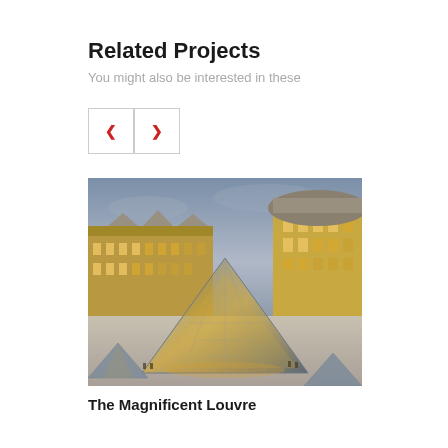Related Projects
You might also be interested in these
[Figure (illustration): Navigation buttons with left and right red chevron arrows, bordered boxes]
[Figure (photo): The Louvre museum in Paris at dusk, showing the famous glass pyramid in the foreground and the classical French baroque palace building lit with warm lights in the background under a cloudy sky]
The Magnificent Louvre